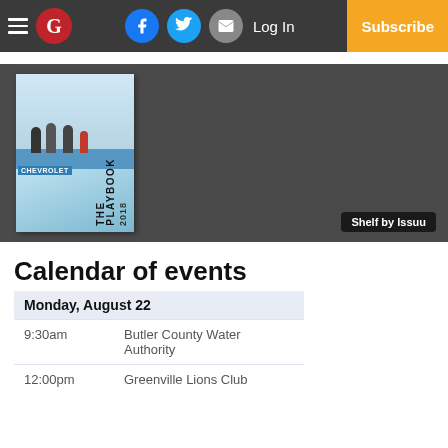G | Log In | Subscribe
[Figure (screenshot): Issuu shelf embed showing 'The Playbook 2018' publication with a photo of people near a Chevrolet display, on a dark gray background with 'Shelf by Issuu' badge]
Calendar of events
| Monday, August 22 |  |
| 9:30am | Butler County Water Authority |
| 12:00pm | Greenville Lions Club |